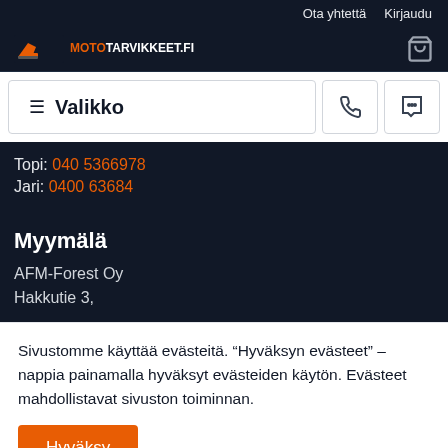Ota yhtettä  Kirjaudu
[Figure (logo): Mototarvikkeet.fi logo with orange excavator icon and shopping cart]
≡ Valikko
Topi: 040 5366978
Jari: 0400 63684
Myymälä
AFM-Forest Oy
Hakkutie 3,
Sivustomme käyttää evästeitä. "Hyväksyn evästeet" – nappia painamalla hyväksyt evästeiden käytön. Evästeet mahdollistavat sivuston toiminnan.
Hyväksy